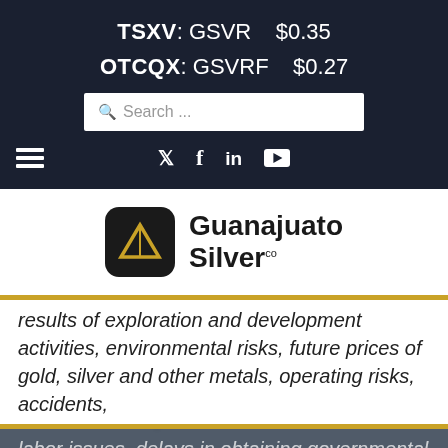TSXV: GSVR   $0.35
OTCQX: GSVRF   $0.27
Search ...
[Figure (logo): Guanajuato Silver Company logo with triangle icon on dark rounded square background]
results of exploration and development activities, environmental risks, future prices of gold, silver and other metals, operating risks, accidents,
labor issues, delays in obtaining governmental or other permits, and conditions in the capital markets, in the mining industry, including there is uncertainty about the spread of COVID-19 and the impact it will have on the Company's operations, supply chains, and the ability to access fi
This website uses cookies to ensure you get the best experience on our website.
I Understand